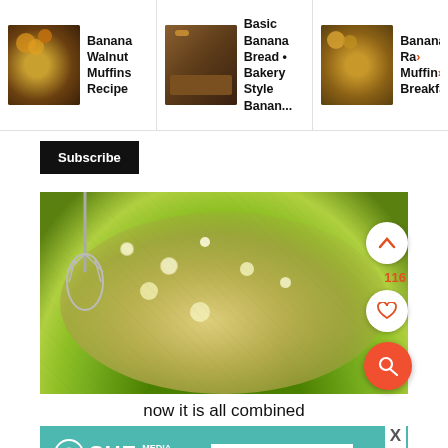[Figure (screenshot): Top navigation bar showing three related recipe cards: 'Banana Walnut Muffins Recipe', 'Basic Banana Bread • Bakery Style Banan...', and 'Banana Ra... Muffin... Breakfast...' with thumbnail images]
Subscribe
[Figure (photo): Close-up photo of whisked banana mixture in a green bowl, showing combined wet ingredients with bubbles]
now it is all combined
[Figure (screenshot): SHE Media Partner Network advertisement banner with 'BECOME A MEMBER' button and close X button]
[Figure (other): Bottom decorative hexagon/chevron pattern in grey]